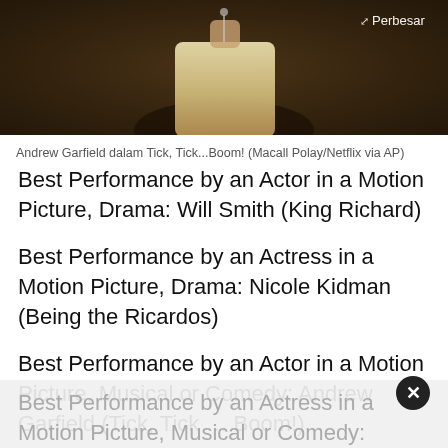[Figure (photo): Andrew Garfield performing in Tick, Tick...Boom!, a person in a light-colored shirt against a dark background, partially visible from waist up with a microphone]
Andrew Garfield dalam Tick, Tick...Boom! (Macall Polay/Netflix via AP)
Best Performance by an Actor in a Motion Picture, Drama: Will Smith (King Richard)
Best Performance by an Actress in a Motion Picture, Drama: Nicole Kidman (Being the Ricardos)
Best Performance by an Actor in a Motion Picture, Musical or Comedy: Andrew Garfield (Tick, Tick … Boom!)
Best Performance by an Actress in a Motion Picture, Musical or Comedy: Rachel Zegler (West Side Story